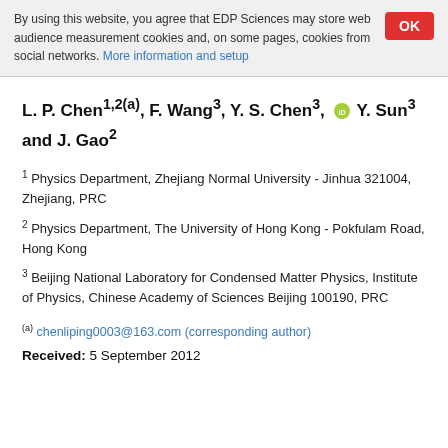By using this website, you agree that EDP Sciences may store web audience measurement cookies and, on some pages, cookies from social networks. More information and setup
L. P. Chen1,2(a), F. Wang3, Y. S. Chen3, [ORCID] Y. Sun3 and J. Gao2
1 Physics Department, Zhejiang Normal University - Jinhua 321004, Zhejiang, PRC
2 Physics Department, The University of Hong Kong - Pokfulam Road, Hong Kong
3 Beijing National Laboratory for Condensed Matter Physics, Institute of Physics, Chinese Academy of Sciences Beijing 100190, PRC
(a) chenliping0003@163.com (corresponding author)
Received: 5 September 2012